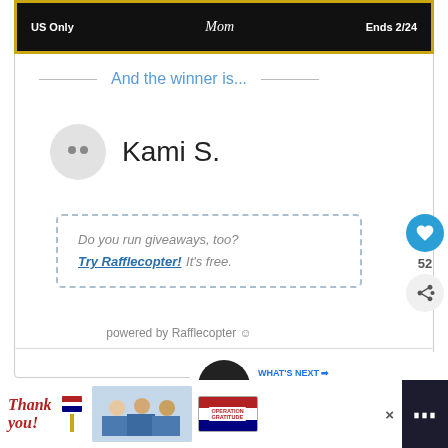[Figure (screenshot): Top banner with dark background and gold border showing 'US Only', 'Mom' (script logo), and 'Ends 2/24']
And the winner is...
Kami S.
Do you run giveaways, too? Try Rafflecopter! It's free.
powered by Rafflecopter
[Figure (screenshot): What's Next panel showing Amazon gift card image with text '#Win $50 Amazon Gift...']
[Figure (screenshot): Bottom advertisement banner: 'Thank you!' with Operation Gratitude branding and nurses photo]